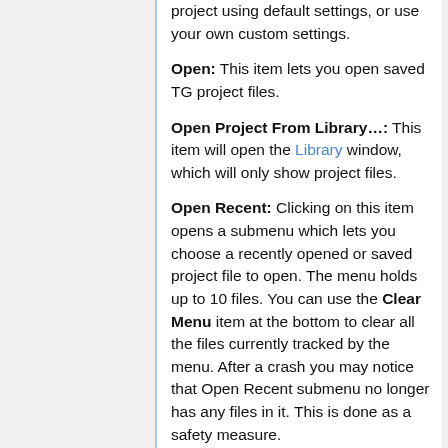project using default settings, or use your own custom settings.
Open: This item lets you open saved TG project files.
Open Project From Library…: This item will open the Library window, which will only show project files.
Open Recent: Clicking on this item opens a submenu which lets you choose a recently opened or saved project file to open. The menu holds up to 10 files. You can use the Clear Menu item at the bottom to clear all the files currently tracked by the menu. After a crash you may notice that Open Recent submenu no longer has any files in it. This is done as a safety measure.
Save: This item lets you save your current project.